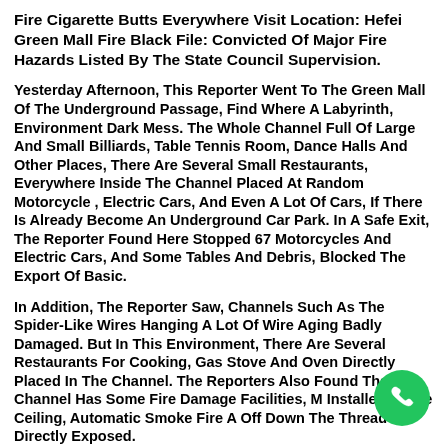Fire Cigarette Butts Everywhere Visit Location: Hefei Green Mall Fire Black File: Convicted Of Major Fire Hazards Listed By The State Council Supervision.
Yesterday Afternoon, This Reporter Went To The Green Mall Of The Underground Passage, Find Where A Labyrinth, Environment Dark Mess. The Whole Channel Full Of Large And Small Billiards, Table Tennis Room, Dance Halls And Other Places, There Are Several Small Restaurants, Everywhere Inside The Channel Placed At Random Motorcycle , Electric Cars, And Even A Lot Of Cars, If There Is Already Become An Underground Car Park. In A Safe Exit, The Reporter Found Here Stopped 67 Motorcycles And Electric Cars, And Some Tables And Debris, Blocked The Export Of Basic.
In Addition, The Reporter Saw, Channels Such As The Spider-Like Wires Hanging A Lot Of Wire Aging Badly Damaged. But In This Environment, There Are Several Restaurants For Cooking, Gas Stove And Oven Directly Placed In The Channel. The Reporters Also Found That The Channel Has Some Fire Damage Facilities, M Installed In The Ceiling, Automatic Smoke Fire A Off Down The Thread Directly Exposed.